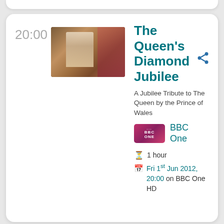20:00
[Figure (photo): A man in a light suit standing in a warmly lit room with bookshelves and red curtains, appearing to be setting a table.]
The Queen's Diamond Jubilee
A Jubilee Tribute to The Queen by the Prince of Wales
[Figure (logo): BBC One logo — white text on pink/magenta gradient background, with dots above BBC and ONE below]
BBC One
1 hour
Fri 1st Jun 2012, 20:00 on BBC One HD